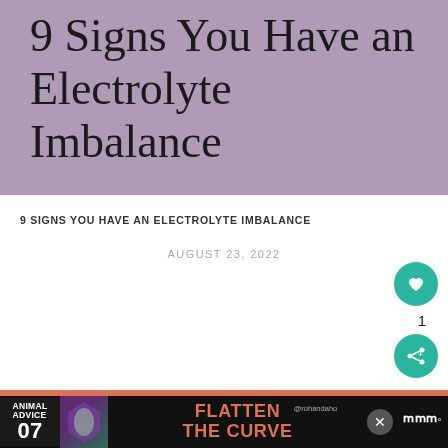[Figure (illustration): Purple banner background with article title overlay]
9 Signs You Have an Electrolyte Imbalance
9 SIGNS YOU HAVE AN ELECTROLYTE IMBALANCE
AUGUST 23, 2022
[Figure (illustration): Orange/coral background section with quote text: Life doesn't get better by chance; it gets better by CHANGE.]
Life doesn’t get better by chance; it gets better by CHANGE.
[Figure (infographic): What's Next panel: thumbnail image with text 'What I'm Loving Latel...']
[Figure (infographic): Bottom advertisement bar: Animal Advice 07 / Flatten the Curve / @rohandaho handle / close button / WNR logo]